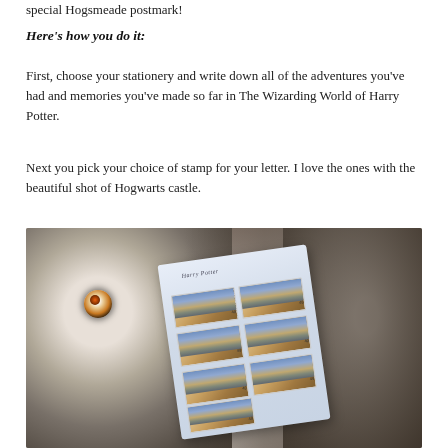special Hogsmeade postmark!
Here's how you do it:
First, choose your stationery and write down all of the adventures you've had and memories you've made so far in The Wizarding World of Harry Potter.
Next you pick your choice of stamp for your letter. I love the ones with the beautiful shot of Hogwarts castle.
[Figure (photo): Photo of owl plush toys surrounding a sheet of Harry Potter stamps featuring Hogwarts castle, each stamp marked with '49'.]